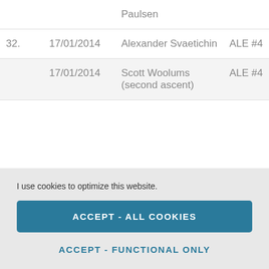| # | Date | Name | Route | Country |
| --- | --- | --- | --- | --- |
|  |  | Paulsen |  |  |
| 32. | 17/01/2014 | Alexander Svaetichin | ALE #4 | Swede… |
|  | 17/01/2014 | Scott Woolums (second ascent) | ALE #4 | USA |
I use cookies to optimize this website.
ACCEPT - ALL COOKIES
ACCEPT - FUNCTIONAL ONLY